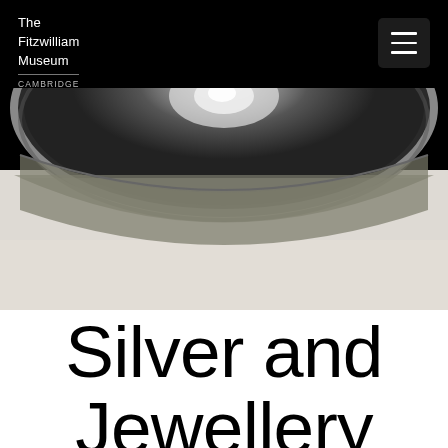The Fitzwilliam Museum CAMBRIDGE
[Figure (photo): Close-up photograph of a dark metallic silver bowl, showing the curved rim and reflective surface against a light background]
Silver and Jewellery